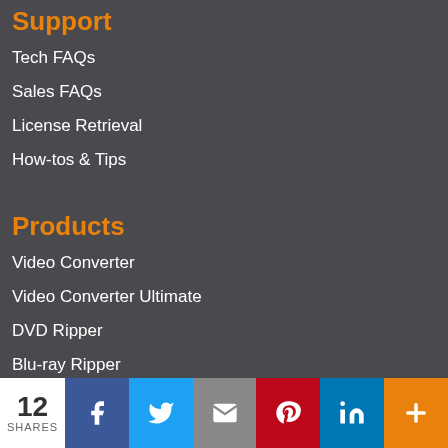Support
Tech FAQs
Sales FAQs
License Retrieval
How-tos & Tips
Products
Video Converter
Video Converter Ultimate
DVD Ripper
Blu-ray Ripper
12 SHARES